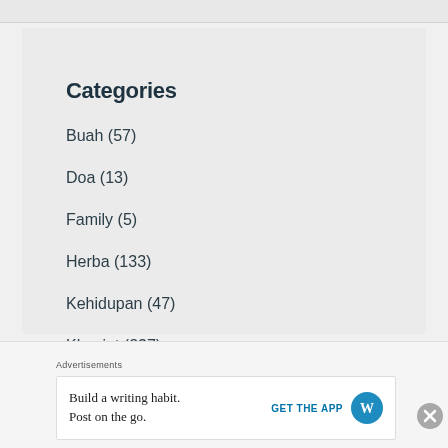Categories
Buah (57)
Doa (13)
Family (5)
Herba (133)
Kehidupan (47)
Khasiat (237)
Kuih (26)
Advertisements
Build a writing habit. Post on the go.
GET THE APP